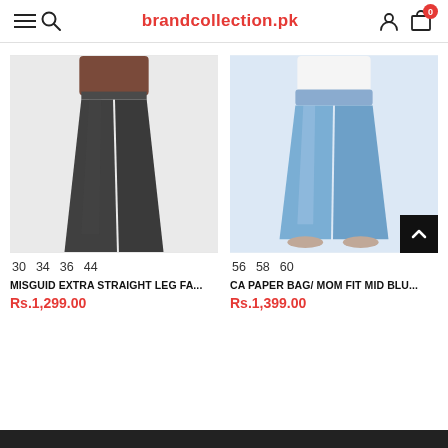brandcollection.pk
[Figure (photo): Woman wearing dark charcoal straight leg jeans with a brown top, showing waist to ankle]
30  34  36  44
MISGUID EXTRA STRAIGHT LEG FA...
Rs.1,299.00
[Figure (photo): Woman wearing light blue mid-rise paper bag mom fit jeans with a white top]
56  58  60
CA PAPER BAG/ MOM FIT MID BLU...
Rs.1,399.00